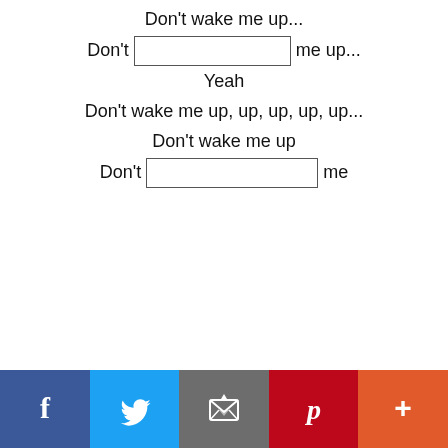Don't wake me up...
Don't [blank] me up...
Yeah
Don't wake me up, up, up, up, up...
Don't wake me up
Don't [blank] me
[Figure (infographic): Social sharing bar with Facebook, Twitter, Email, Pinterest, and More buttons]